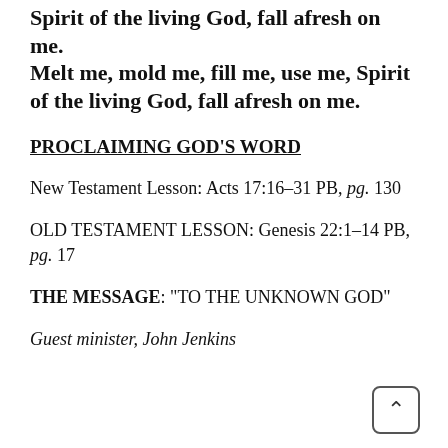Spirit of the living God, fall afresh on me. Melt me, mold me, fill me, use me, Spirit of the living God, fall afresh on me.
PROCLAIMING GOD'S WORD
New Testament Lesson: Acts 17:16–31 PB, pg. 130
OLD TESTAMENT LESSON: Genesis 22:1–14 PB, pg. 17
THE MESSAGE: “TO THE UNKNOWN GOD”
Guest minister, John Jenkins